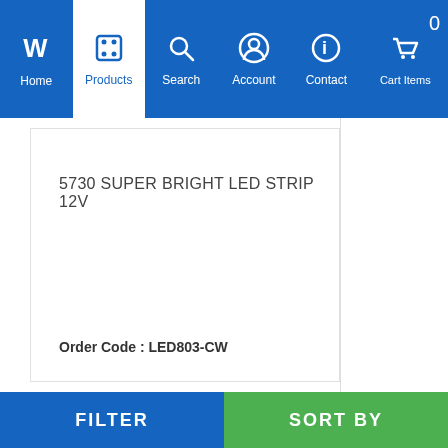Home | Products | Search | Account | Contact | Cart Items 0
5730 SUPER BRIGHT LED STRIP 12V
Order Code : LED803-CW
$2.95
Add To Cart
FILTER | SORT BY